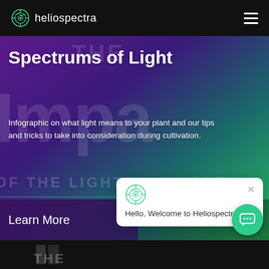heliospectra
[Figure (screenshot): Heliospectra website hero section with gradient background (purple to green), showing 'Spectrums of Light' title and infographic description text, with 'Learn More' bar and chat popup overlay]
Spectrums of Light
Infographic on what light means to your plant and our tips and tricks to take into consideration during cultivation.
Learn More
Hello, Welcome to Heliospectra!